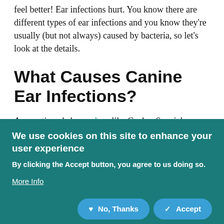feel better! Ear infections hurt. You know there are different types of ear infections and you know they're usually (but not always) caused by bacteria, so let's look at the details.
What Causes Canine Ear Infections?
As mentioned above, dogs like Cocker Spaniels, Basset Hounds, and other dogs with long ears covering their ear canals are among those who tend to experience ear infections.
We use cookies on this site to enhance your user experience
By clicking the Accept button, you agree to us doing so.
More Info